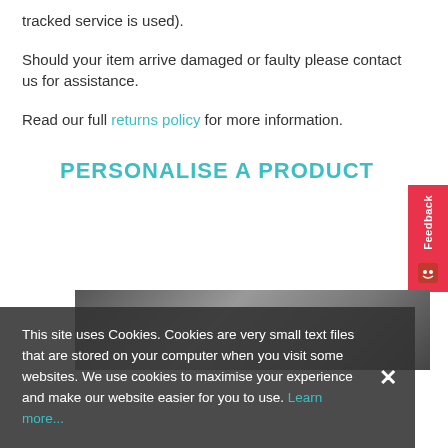tracked service is used).
Should your item arrive damaged or faulty please contact us for assistance.
Read our full returns policy for more information.
PERSONALISE A PRODUCT
[Figure (photo): Black and white photograph of an industrial or workshop interior]
This site uses Cookies. Cookies are very small text files that are stored on your computer when you visit some websites. We use cookies to maximise your experience and make our website easier for you to use. Learn more...